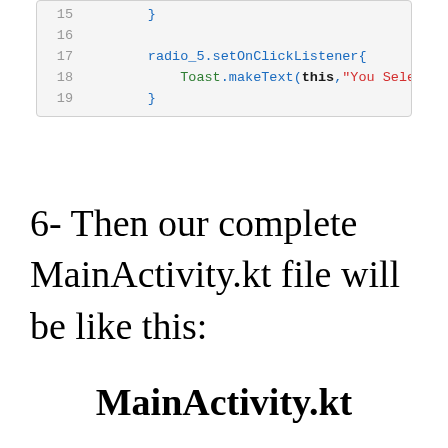[Figure (screenshot): Code snippet showing Kotlin code lines 15-19 with radio_5.setOnClickListener block and Toast.makeText call]
6- Then our complete MainActivity.kt file will be like this:
MainActivity.kt